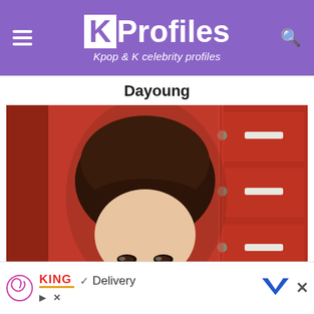KProfiles — Kpop & K celebrity profiles
Dayoung
[Figure (photo): Close-up photo of Dayoung, a young woman with short dark reddish-brown hair, in front of a red dresser/cabinet with drawer handles visible in the background.]
[Figure (infographic): Advertisement banner at the bottom: shows a swirl logo on the left, Burger King logo with orange underline, checkmark and 'Delivery' text, a blue bird icon, and an X close button on the right. Also has a play icon and X icon on the lower left.]